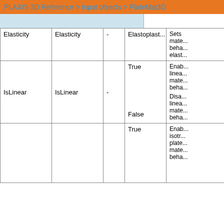PLAXIS 3D Reference > Input objects > PlateMat3D
| Name | Name | Unit | Values | Description |
| --- | --- | --- | --- | --- |
| Elasticity | Elasticity | - | Elastoplast... | Sets mate... beha... elast... |
| IsLinear | IsLinear | - | True
False | Enab... linea... mate... beha...
Disa... linea... mate... beha... |
|  |  |  | True | Enab... isotr... plate... mate... beha... |